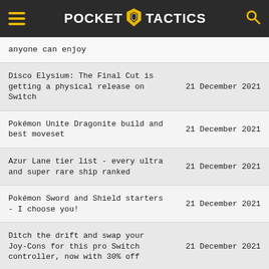POCKET TACTICS
anyone can enjoy
Disco Elysium: The Final Cut is getting a physical release on Switch — 21 December 2021
Pokémon Unite Dragonite build and best moveset — 21 December 2021
Azur Lane tier list - every ultra and super rare ship ranked — 21 December 2021
Pokémon Sword and Shield starters - I choose you! — 21 December 2021
Ditch the drift and swap your Joy-Cons for this pro Switch controller, now with 30% off — 21 December 2021